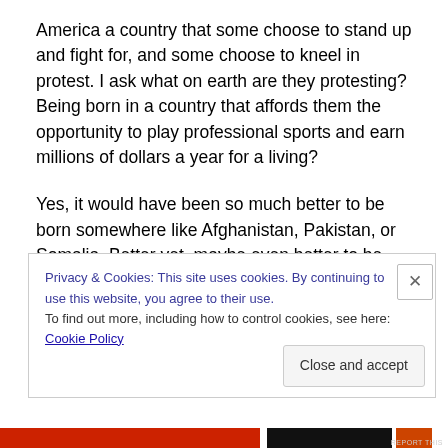America a country that some choose to stand up and fight for, and some choose to kneel in protest. I ask what on earth are they protesting? Being born in a country that affords them the opportunity to play professional sports and earn millions of dollars a year for a living?
Yes, it would have been so much better to be born somewhere like Afghanistan, Pakistan, or Somalia. Better yet, maybe even better to be born a little girl in Somalia (where female genital mutilation with no anesthesia is a
Privacy & Cookies: This site uses cookies. By continuing to use this website, you agree to their use.
To find out more, including how to control cookies, see here: Cookie Policy
Close and accept